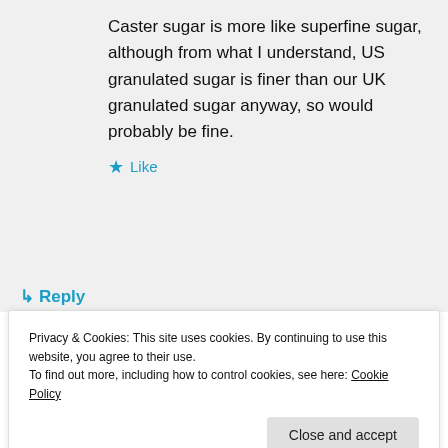Caster sugar is more like superfine sugar, although from what I understand, US granulated sugar is finer than our UK granulated sugar anyway, so would probably be fine.
★ Like
↳ Reply
[Figure (photo): Small thumbnail photo in advertisement area]
REPORT THIS AD
Privacy & Cookies: This site uses cookies. By continuing to use this website, you agree to their use.
To find out more, including how to control cookies, see here: Cookie Policy
Close and accept
goddess.